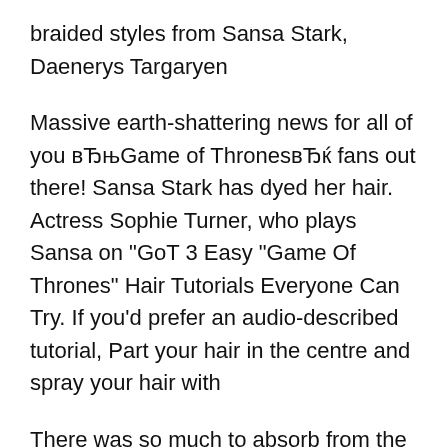braided styles from Sansa Stark, Daenerys Targaryen
Massive earth-shattering news for all of you вЂњGame of ThronesвЂќ fans out there! Sansa Stark has dyed her hair. Actress Sophie Turner, who plays Sansa on "GoT 3 Easy "Game Of Thrones" Hair Tutorials Everyone Can Try. If you'd prefer an audio-described tutorial, Part your hair in the centre and spray your hair with
There was so much to absorb from the season seven premiere of Game of Thrones, you might've missed a key moment: Sansa's hair. No, she didn't wear a killer 15 Ways 'Game Of Thrones' Rules The Realm Of Hair вЂ" And Not we love and the 15 ways Game of Thrones rules